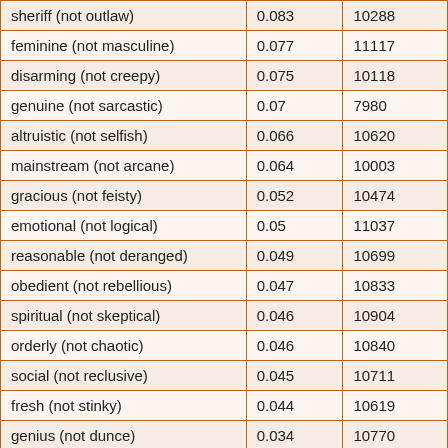| sheriff (not outlaw) | 0.083 | 10288 |
| feminine (not masculine) | 0.077 | 11117 |
| disarming (not creepy) | 0.075 | 10118 |
| genuine (not sarcastic) | 0.07 | 7980 |
| altruistic (not selfish) | 0.066 | 10620 |
| mainstream (not arcane) | 0.064 | 10003 |
| gracious (not feisty) | 0.052 | 10474 |
| emotional (not logical) | 0.05 | 11037 |
| reasonable (not deranged) | 0.049 | 10699 |
| obedient (not rebellious) | 0.047 | 10833 |
| spiritual (not skeptical) | 0.046 | 10904 |
| orderly (not chaotic) | 0.046 | 10840 |
| social (not reclusive) | 0.045 | 10711 |
| fresh (not stinky) | 0.044 | 10619 |
| genius (not dunce) | 0.034 | 10770 |